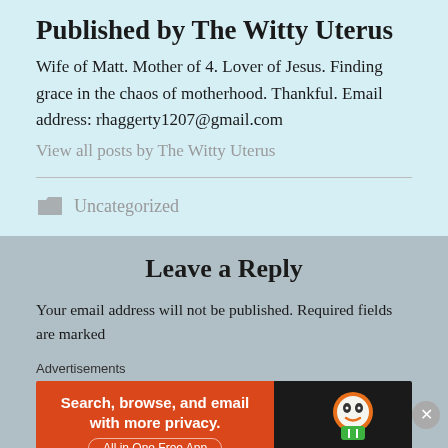Published by The Witty Uterus
Wife of Matt. Mother of 4. Lover of Jesus. Finding grace in the chaos of motherhood. Thankful. Email address: rhaggerty1207@gmail.com
View all posts by The Witty Uterus
Uncategorized
Leave a Reply
Your email address will not be published. Required fields are marked
Advertisements
[Figure (screenshot): DuckDuckGo advertisement banner: 'Search, browse, and email with more privacy. All in One Free App' with DuckDuckGo logo on dark background]